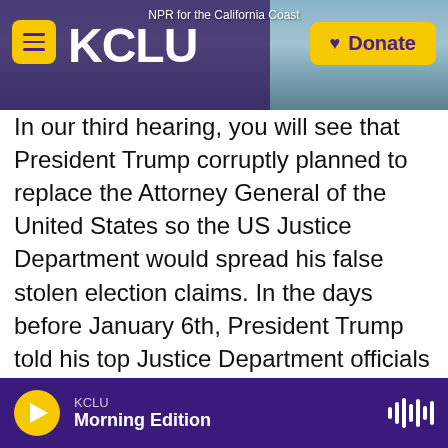[Figure (screenshot): KCLU NPR radio station header banner with logo, menu button, and donate button. Background shows California coast scenery.]
In our third hearing, you will see that President Trump corruptly planned to replace the Attorney General of the United States so the US Justice Department would spread his false stolen election claims. In the days before January 6th, President Trump told his top Justice Department officials quote, "Just say the election was corrupt and leave the rest to me and the Republican Congressmen". Senior Justice Department officials, men he had appointed, told him they could not do that because it was not true. So President Trump decided to replace them. He offered Jeff Clark, an environmental lawyer at the Justice Department,
KCLU Morning Edition